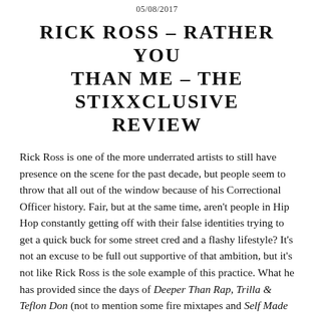05/08/2017
RICK ROSS – RATHER YOU THAN ME – THE STIXXCLUSIVE REVIEW
Rick Ross is one of the more underrated artists to still have presence on the scene for the past decade, but people seem to throw that all out of the window because of his Correctional Officer history. Fair, but at the same time, aren't people in Hip Hop constantly getting off with their false identities trying to get a quick buck for some street cred and a flashy lifestyle? It's not an excuse to be full out supportive of that ambition, but it's not like Rick Ross is the sole example of this practice. What he has provided since the days of Deeper Than Rap, Trilla & Teflon Don (not to mention some fire mixtapes and Self Made Vol 1.) has been quality luxury rap music. The type of music that you